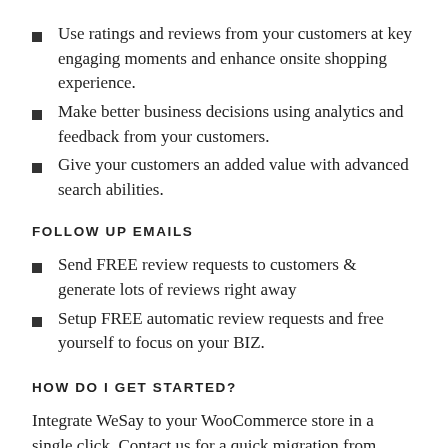Use ratings and reviews from your customers at key engaging moments and enhance onsite shopping experience.
Make better business decisions using analytics and feedback from your customers.
Give your customers an added value with advanced search abilities.
FOLLOW UP EMAILS
Send FREE review requests to customers & generate lots of reviews right away
Setup FREE automatic review requests and free yourself to focus on your BIZ.
HOW DO I GET STARTED?
Integrate WeSay to your WooCommerce store in a single click. Contact us for a quick migration from